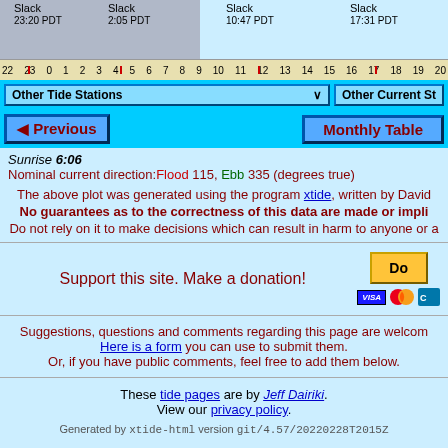[Figure (other): Tide/current chart with time ruler showing Slack times at 23:20 PDT, 2:05 PDT, 10:47 PDT, 17:31 PDT and hour markings from 22 to 20]
Other Tide Stations ▾   Other Current St
◄ Previous   Monthly Table
Sunrise 6:06   Nominal current direction:Flood 115, Ebb 335 (degrees true)
The above plot was generated using the program xtide, written by David
No guarantees as to the correctness of this data are made or impli
Do not rely on it to make decisions which can result in harm to anyone or a
Support this site. Make a donation!
Suggestions, questions and comments regarding this page are welcom
Here is a form you can use to submit them.
Or, if you have public comments, feel free to add them below.
These tide pages are by Jeff Dairiki.
View our privacy policy.
Generated by xtide-html version git/4.57/20220228T2015Z